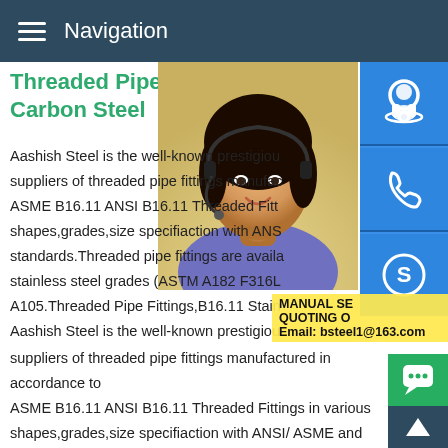Navigation
Threaded Pipe Fittings,B16.1 Carbon Steel
Aashish Steel is the well-known prestigious suppliers of threaded pipe fittings manufactured in accordance to ASME B16.11 ANSI B16.11 Threaded Fittings in various shapes,grades,size specifiaction with ANSI/ ASME and DIN standards.Threaded pipe fittings are available ex-stock in all stainless steel grades (ASTM A182 F316L,F304L) and ASTM A105.Threaded Pipe Fittings,B16.11 Stainless Steel Aashish Steel is the well-known prestigious suppliers of threaded pipe fittings manufactured in accordance to ASME B16.11 ANSI B16.11 Threaded Fittings in various shapes,grades,size specifiaction with ANSI/ ASME and DIN standards.Threaded pipe fittings are available ex-stock in all stainless steel grades (ASTM A182 F316L,F304L) and ASTM A105.Threaded Pipe Fittings Manufacturers in India.Buy Nov
[Figure (photo): Customer service woman with headset smiling]
[Figure (infographic): Three blue icon buttons: headset/customer service, phone, and Skype icons stacked vertically on right side]
MANUAL SE... QUOTING O... Email: bsteel1@163.com
[Figure (infographic): Green chat bubble button and dark up-arrow button in bottom right corner]